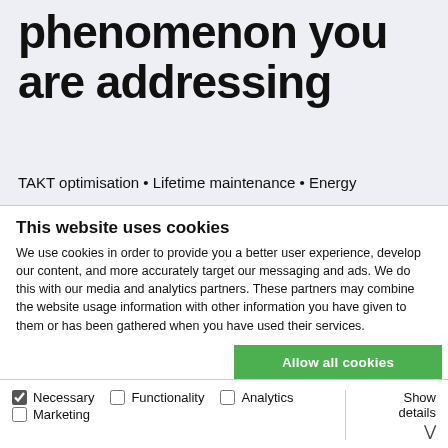phenomenon you are addressing
TAKT optimisation • Lifetime maintenance • Energy optimisation
This website uses cookies
We use cookies in order to provide you a better user experience, develop our content, and more accurately target our messaging and ads. We do this with our media and analytics partners. These partners may combine the website usage information with other information you have given to them or has been gathered when you have used their services.
Allow all cookies
Allow selection
Use necessary cookies only
Necessary  Functionality  Analytics  Marketing  Show details